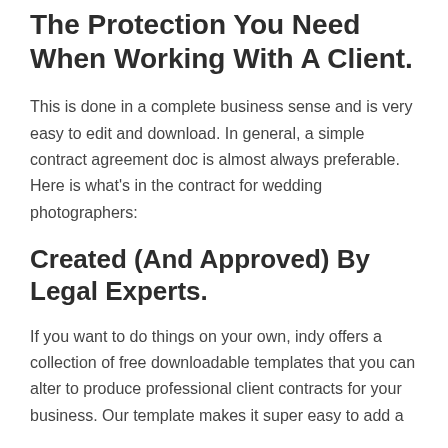The Protection You Need When Working With A Client.
This is done in a complete business sense and is very easy to edit and download. In general, a simple contract agreement doc is almost always preferable. Here is what's in the contract for wedding photographers:
Created (And Approved) By Legal Experts.
If you want to do things on your own, indy offers a collection of free downloadable templates that you can alter to produce professional client contracts for your business. Our template makes it super easy to add a